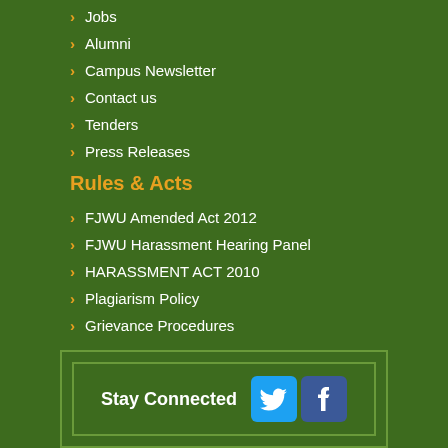Jobs
Alumni
Campus Newsletter
Contact us
Tenders
Press Releases
Rules & Acts
FJWU Amended Act 2012
FJWU Harassment Hearing Panel
HARASSMENT ACT 2010
Plagiarism Policy
Grievance Procedures
Stay Connected